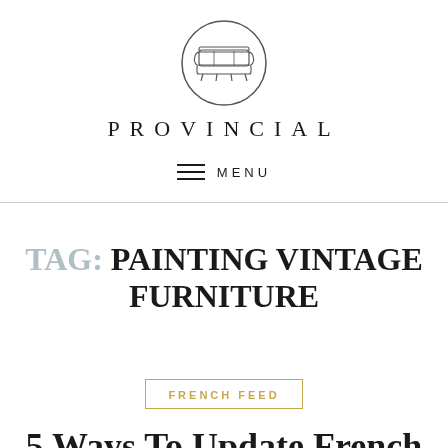[Figure (logo): Circular logo with an illustration of a French-style settee/sofa inside a circle outline]
PROVINCIAL
≡ MENU
TAG: PAINTING VINTAGE FURNITURE
FRENCH FEED
5 Ways To Update French